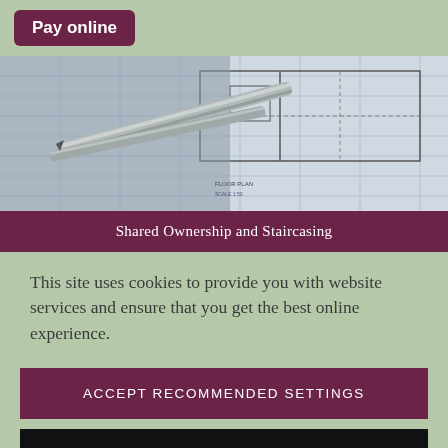Pay online
[Figure (photo): Close-up photo of architectural blueprints/technical drawings with metal pens or drafting tools resting on top]
Shared Ownership and Staircasing
This site uses cookies to provide you with website services and ensure that you get the best online experience.
ACCEPT RECOMMENDED SETTINGS
LEARN MORE